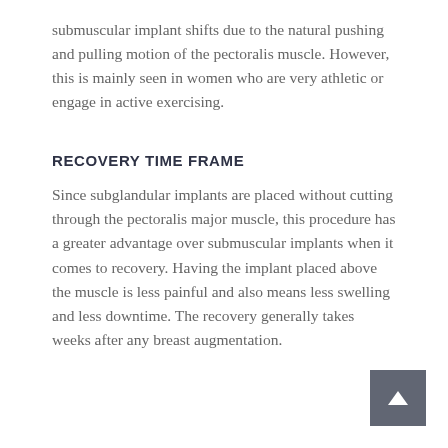submuscular implant shifts due to the natural pushing and pulling motion of the pectoralis muscle. However, this is mainly seen in women who are very athletic or engage in active exercising.
RECOVERY TIME FRAME
Since subglandular implants are placed without cutting through the pectoralis major muscle, this procedure has a greater advantage over submuscular implants when it comes to recovery. Having the implant placed above the muscle is less painful and also means less swelling and less downtime. The recovery generally takes weeks after any breast augmentation.